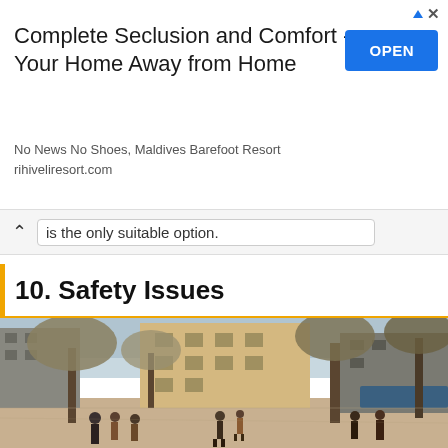[Figure (infographic): Advertisement banner: 'Complete Seclusion and Comfort - Your Home Away from Home' with OPEN button, No News No Shoes, Maldives Barefoot Resort, rihiveliresort.com]
is the only suitable option.
10. Safety Issues
[Figure (photo): Street scene of Las Ramblas, Barcelona. Pedestrian boulevard with people walking, flanked by tall European buildings, trees, and outdoor cafe seating on the right. Overcast sky.]